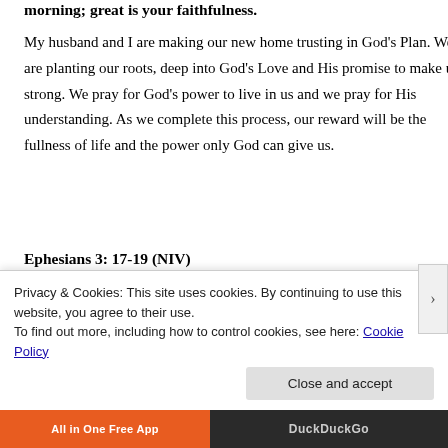morning; great is your faithfulness.
My husband and I are making our new home trusting in God's Plan. We are planting our roots, deep into God's Love and His promise to make us strong. We pray for God's power to live in us and we pray for His understanding. As we complete this process, our reward will be the fullness of life and the power only God can give us.
Ephesians 3: 17-19 (NIV)
Then Christ will make his home in your hearts as you trust in him. Your roots will grow down into God's love and keep you strong. 18 And may you
Privacy & Cookies: This site uses cookies. By continuing to use this website, you agree to their use.
To find out more, including how to control cookies, see here: Cookie Policy
Close and accept
All in One Free App   DuckDuckGo